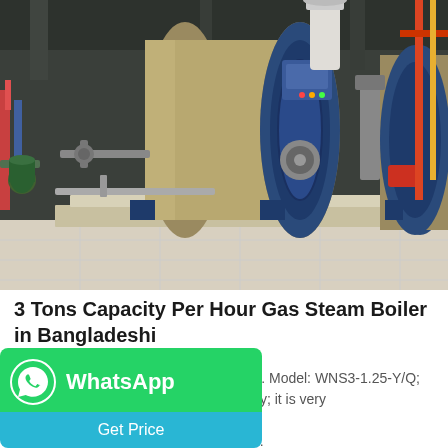[Figure (photo): Industrial gas steam boilers inside a factory building. Two large horizontal cylindrical boilers with blue front panels, beige/tan tank bodies, and various pipes and fittings. The boilers are mounted on metal frames on a light-colored tile floor.]
3 Tons Capacity Per Hour Gas Steam Boiler in Bangladeshi
3 Tons Steam Boiler Exported to Russia. Model: WNS3-1.25-Y/Q; on: Building materials industry; it is very concrete in the initial stage after ller is the most critical equipment for...